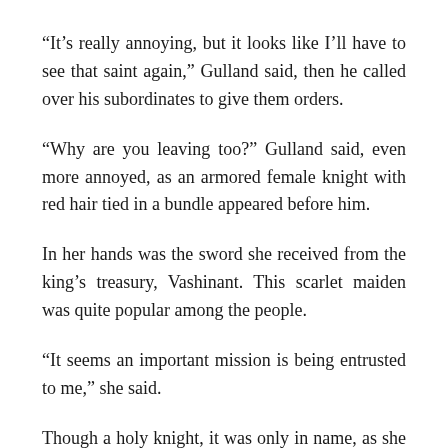“It’s really annoying, but it looks like I’ll have to see that saint again,” Gulland said, then he called over his subordinates to give them orders.
“Why are you leaving too?” Gulland said, even more annoyed, as an armored female knight with red hair tied in a bundle appeared before him.
In her hands was the sword she received from the king’s treasury, Vashinant. This scarlet maiden was quite popular among the people.
“It seems an important mission is being entrusted to me,” she said.
Though a holy knight, it was only in name, as she did not yet have the strength fitting of the name. She has been